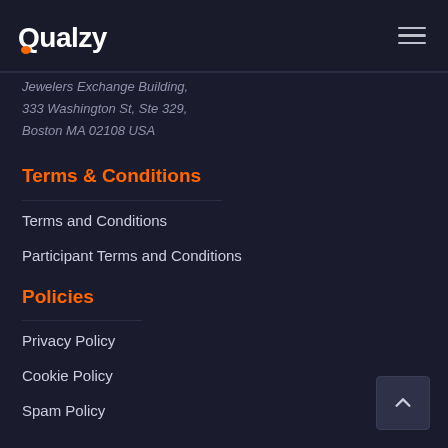Qualzy
Jewelers Exchange Building,
333 Washington St, Ste 329,
Boston MA 02108 USA
Terms & Conditions
Terms and Conditions
Participant Terms and Conditions
Policies
Privacy Policy
Cookie Policy
Spam Policy